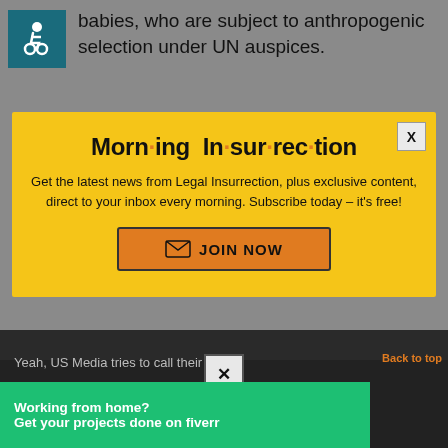[Figure (illustration): Wheelchair accessibility icon — white figure in wheelchair on teal/dark cyan background]
babies, who are subject to anthropogenic selection under UN auspices.
[Figure (screenshot): Morning Insurrection newsletter popup modal with yellow background. Title: 'Morn·ing In·sur·rec·tion'. Description: 'Get the latest news from Legal Insurrection, plus exclusive content, direct to your inbox every morning. Subscribe today – it's free!' with orange JOIN NOW button. X close button in top right.]
Yeah, US Media tries to call their
fighters.
[Figure (infographic): Fiverr advertisement banner: green background with white text 'Working from home? Get your projects done on fiverr']